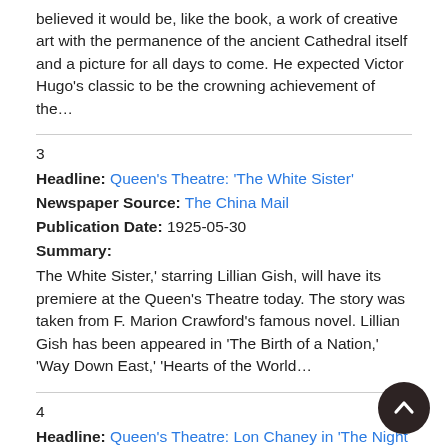believed it would be, like the book, a work of creative art with the permanence of the ancient Cathedral itself and a picture for all days to come. He expected Victor Hugo's classic to be the crowning achievement of the…
3
Headline: Queen's Theatre: 'The White Sister'
Newspaper Source: The China Mail
Publication Date: 1925-05-30
Summary:
The White Sister,' starring Lillian Gish, will have its premiere at the Queen's Theatre today. The story was taken from F. Marion Crawford's famous novel. Lillian Gish has been appeared in 'The Birth of a Nation,' 'Way Down East,' 'Hearts of the World…
4
Headline: Queen's Theatre: Lon Chaney in 'The Night Rose'
Newspaper Source: The China Mail
Publication Date: 1925-06-20
Summary:
The Night Rose,' written by Leroy Scott, will be shown at the…